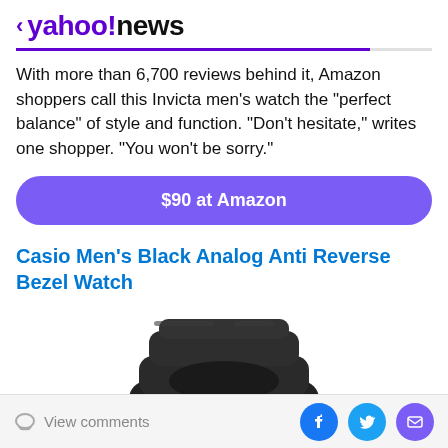< yahoo!news
With more than 6,700 reviews behind it, Amazon shoppers call this Invicta men's watch the "perfect balance" of style and function. "Don't hesitate," writes one shopper. "You won't be sorry."
$90 at Amazon
Casio Men's Black Analog Anti Reverse Bezel Watch
[Figure (photo): Photo of a black Casio watch with black band, showing the watch face and band folded/stacked.]
View comments